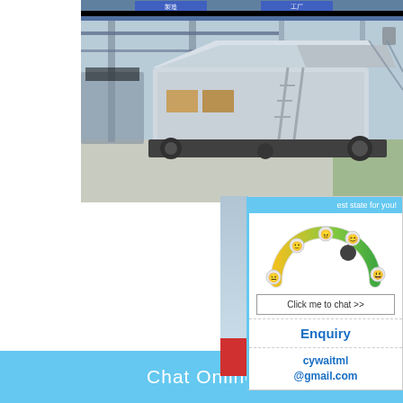[Figure (photo): Industrial mobile crushing plant/machine inside a large factory warehouse with steel structure, blue overhead cranes and machinery in background]
[Figure (photo): Live chat popup with a smiling woman in white shirt wearing yellow hard hat with two workers behind her also in yellow hard hats. Red 'LIVE CHAT' title text with 'Click for a Free Consultation' below. 'Chat now' red button and 'Chat later' dark button.]
[Figure (infographic): Right panel widget showing satisfaction gauge meter (speedometer style with yellow-green arc and dark ball pointer), 'Click me to chat >>' button, Enquiry section, and cywaitml@gmail.com contact email]
200 Tph Mobile Crusher Manufacturer Price In
200 Tph Crusher Plant Price In India Tod
22k. Tph Stone Crusher Price List. 20 tph
Chat Online